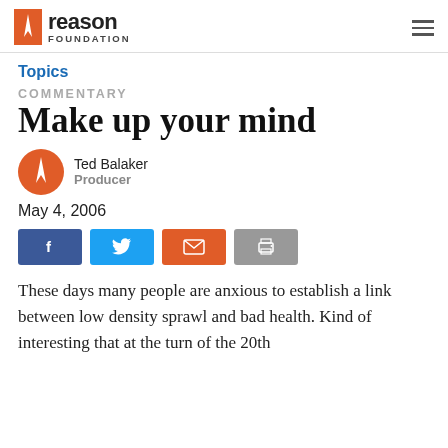Reason Foundation
Topics
COMMENTARY
Make up your mind
Ted Balaker
Producer
May 4, 2006
[Figure (infographic): Social sharing buttons: Facebook, Twitter, Email, Print]
These days many people are anxious to establish a link between low density sprawl and bad health. Kind of interesting that at the turn of the 20th